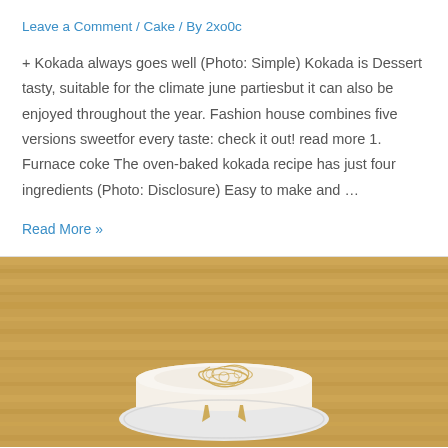Leave a Comment / Cake / By 2xo0c
+ Kokada always goes well (Photo: Simple) Kokada is Dessert tasty, suitable for the climate june partiesbut it can also be enjoyed throughout the year. Fashion house combines five versions sweetfor every taste: check it out! read more 1. Furnace coke The oven-baked kokada recipe has just four ingredients (Photo: Disclosure) Easy to make and …
Read More »
[Figure (photo): A small round white cake with gold decorative swirl frosting on top, sitting on a white plate, on a wooden table background.]